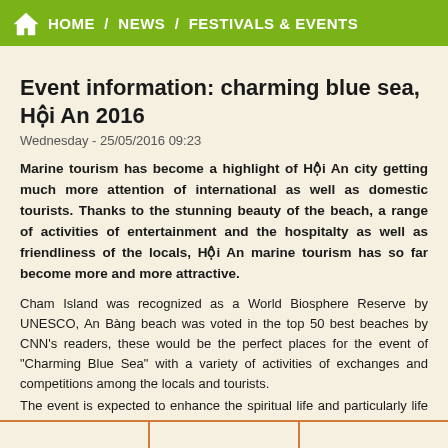HOME / NEWS / FESTIVALS & EVENTS
Event information: charming blue sea, Hội An 2016
Wednesday - 25/05/2016 09:23
Marine tourism has become a highlight of Hội An city getting much more attention of international as well as domestic tourists. Thanks to the stunning beauty of the beach, a range of activities of entertainment and the hospitalty as well as friendliness of the locals, Hội An marine tourism has so far become more and more attractive.
Cham Island was recognized as a World Biosphere Reserve by UNESCO, An Bàng beach was voted in the top 50 best beaches by CNN's readers, these would be the perfect places for the event of "Charming Blue Sea" with a variety of activities of exchanges and competitions among the locals and tourists.
The event is expected to enhance the spiritual life and particularly life and particularly promote the image and potential of marine tourism of Hội An to the locals and tourists.
|  |  |  |